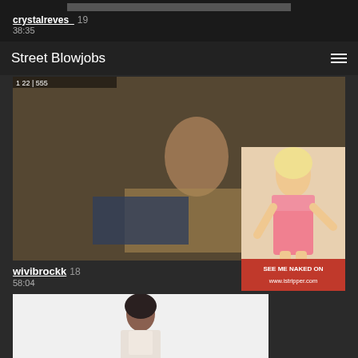crystalreves_ 19
38:35
Street Blowjobs
[Figure (photo): Video thumbnail showing a young woman on a bed with a laptop]
wivibrockk 18
58:04
[Figure (photo): Video thumbnail showing a young woman in white outfit against white background]
[Figure (photo): Advertisement overlay showing a blonde woman in pink outfit with text SEE ME NAKED ON www.istripper.com]